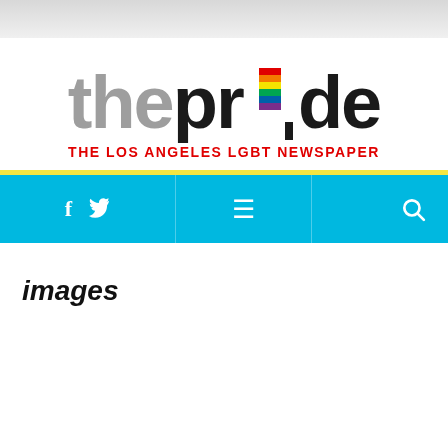[Figure (logo): The Pride newspaper logo: 'the' in gray bold large text followed by 'pride' in black bold large text with a rainbow-colored 'i' dot (rainbow stripes stacked), and the tagline 'THE LOS ANGELES LGBT NEWSPAPER' in red below]
images